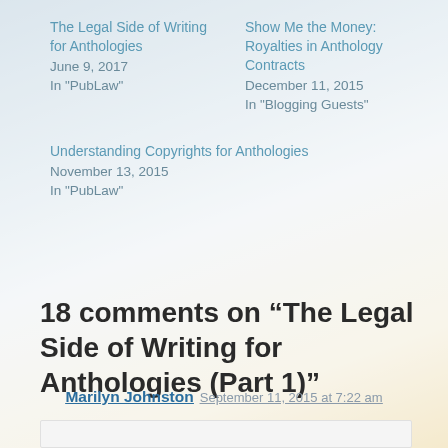The Legal Side of Writing for Anthologies
June 9, 2017
In "PubLaw"
Show Me the Money: Royalties in Anthology Contracts
December 11, 2015
In "Blogging Guests"
Understanding Copyrights for Anthologies
November 13, 2015
In "PubLaw"
18 comments on “The Legal Side of Writing for Anthologies (Part 1)”
Marilyn Johnston  September 11, 2015 at 7:22 am